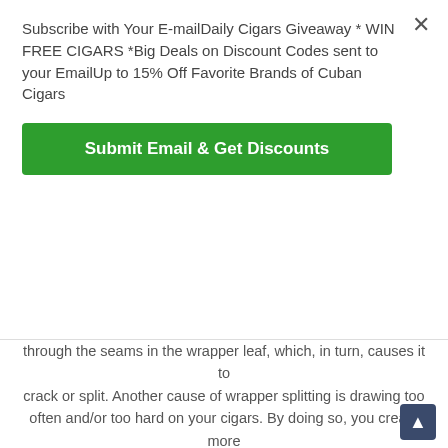Subscribe with Your E-mailDaily Cigars Giveaway * WIN FREE CIGARS *Big Deals on Discount Codes sent to your EmailUp to 15% Off Favorite Brands of Cuban Cigars
Submit Email & Get Discounts
through the seams in the wrapper leaf, which, in turn, causes it to crack or split. Another cause of wrapper splitting is drawing too often and/or too hard on your cigars. By doing so, you create more juices in the pipe and get the same results.
Do Cigars get better with age?
Age your cigars for a year (or more) to obtain a significantly noticeable mellow flavor. A bad cigar, or a brand that you just do not like, will not transform into a good cigar by aging, even over a long period of time.
How fast do cigars dry out?
If you take a cigar out of your humidor and leave it in a room that is especially warm (and dry), or air-conditioned, it could dry out in as little as an hour. But normally it will stay fresh for the better part of